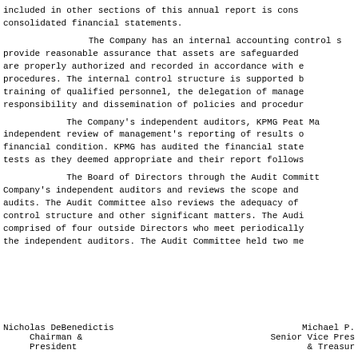included in other sections of this annual report is cons consolidated financial statements.
The Company has an internal accounting control s provide reasonable assurance that assets are safeguarded are properly authorized and recorded in accordance with e procedures. The internal control structure is supported b training of qualified personnel, the delegation of manage responsibility and dissemination of policies and procedur
The Company's independent auditors, KPMG Peat Ma independent review of management's reporting of results o financial condition. KPMG has audited the financial state tests as they deemed appropriate and their report follows
The Board of Directors through the Audit Committ Company's independent auditors and reviews the scope and audits. The Audit Committee also reviews the adequacy of control structure and other significant matters. The Audi comprised of four outside Directors who meet periodically the independent auditors. The Audit Committee held two me
Nicholas DeBenedictis
    Chairman &
    President
Michael P.
    Senior Vice Pres & Treasur